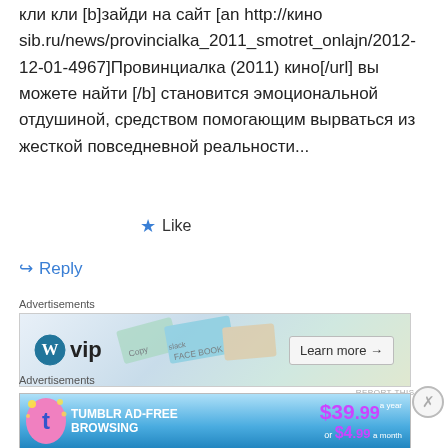кли кли [b]зайди на сайт [an http://кинo sib.ru/news/provincialka_2011_smotret_onlajn/2012-12-01-4967]Провинциалка (2011) кино[/url] вы можете найти [/b] становится эмоциональной отдушиной, средством помогающим вырваться из жесткой повседневной реальности...
★ Like
↪ Reply
Advertisements
[Figure (screenshot): WordPress VIP advertisement banner with 'Learn more →' button]
REPORT THIS AD
Advertisements
[Figure (screenshot): Tumblr Ad-Free Browsing advertisement banner showing $39.99 a year or $4.99 a month pricing]